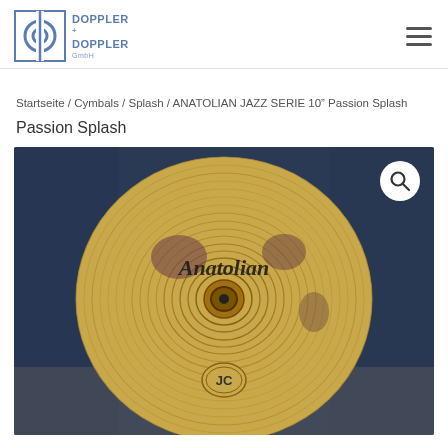Doppler Doppler GmbH
Startseite / Cymbals / Splash / ANATOLIAN JAZZ SERIE 10” Passion Splash
Passion Splash
[Figure (photo): Anatolian cymbal (Passion Splash 10") viewed from above, showing concentric rings and brand logo, on a dark blue fabric background. A white search/magnify icon button is in the top-right corner.]